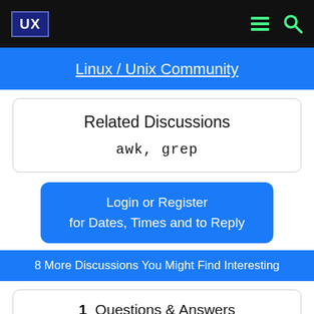UX  [menu icon] [search icon]
Linux / Unix Community
Related Discussions
awk, grep
Login or Register for Dates, Times and to Reply
8 More Discussions You Might Find Interesting
1  Questions & Answers
Cpu information